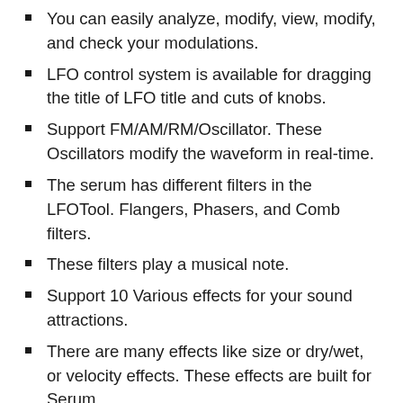You can easily analyze, modify, view, modify, and check your modulations.
LFO control system is available for dragging the title of LFO title and cuts of knobs.
Support FM/AM/RM/Oscillator. These Oscillators modify the waveform in real-time.
The serum has different filters in the LFOTool. Flangers, Phasers, and Comb filters.
These filters play a musical note.
Support 10 Various effects for your sound attractions.
There are many effects like size or dry/wet, or velocity effects. These effects are built for Serum.
Support a single oscillator for various 16 voices. These wavetable oscillators have modern and updated parameters.
Support a variety of unison tuning modes on every single oscillator.
Serum VST Crack was created by Xfer Records. This is